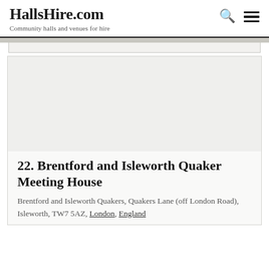HallsHire.com — Community halls and venues for hire
22. Brentford and Isleworth Quaker Meeting House
Brentford and Isleworth Quakers, Quakers Lane (off London Road), Isleworth, TW7 5AZ, London, England